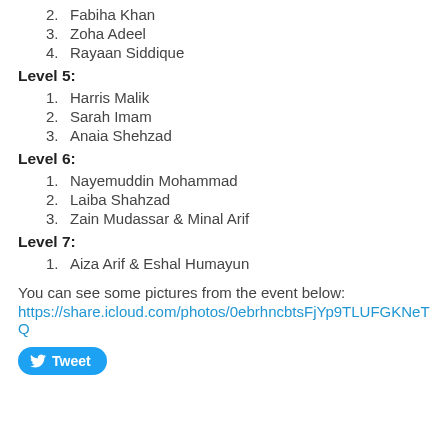2.  Fabiha Khan
3.  Zoha Adeel
4.  Rayaan Siddique
Level 5:
1.  Harris Malik
2.  Sarah Imam
3.  Anaia Shehzad
Level 6:
1.  Nayemuddin Mohammad
2.  Laiba Shahzad
3.  Zain Mudassar & Minal Arif
Level 7:
1.  Aiza Arif & Eshal Humayun
You can see some pictures from the event below:
https://share.icloud.com/photos/0ebrhncbtsFjYp9TLUFGKNeTQ
[Figure (other): Tweet button]